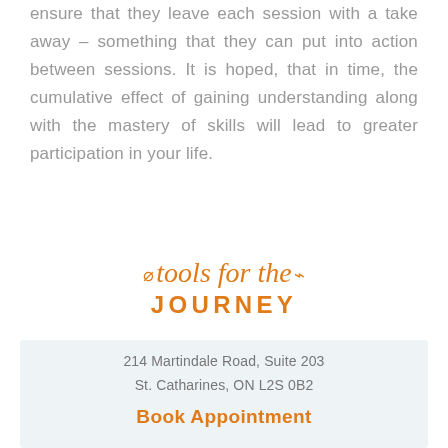ensure that they leave each session with a take away – something that they can put into action between sessions. It is hoped, that in time, the cumulative effect of gaining understanding along with the mastery of skills will lead to greater participation in your life.
tools for the JOURNEY
214 Martindale Road, Suite 203
St. Catharines, ON L2S 0B2
Book Appointment